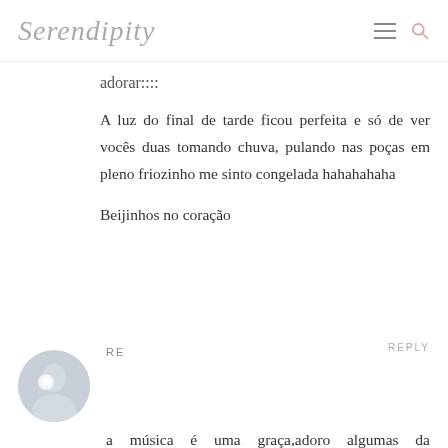Serendipity
adorar::::
A luz do final de tarde ficou perfeita e só de ver vocês duas tomando chuva, pulando nas poças em pleno friozinho me sinto congelada hahahahaha
Beijinhos no coração
RE
a música é uma graça,adoro algumas da Colbie,lindas fotos!! To com uma camera